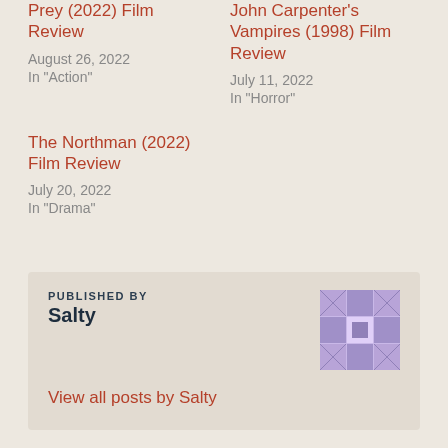Prey (2022) Film Review
August 26, 2022
In "Action"
John Carpenter's Vampires (1998) Film Review
July 11, 2022
In "Horror"
The Northman (2022) Film Review
July 20, 2022
In "Drama"
PUBLISHED BY
Salty
View all posts by Salty